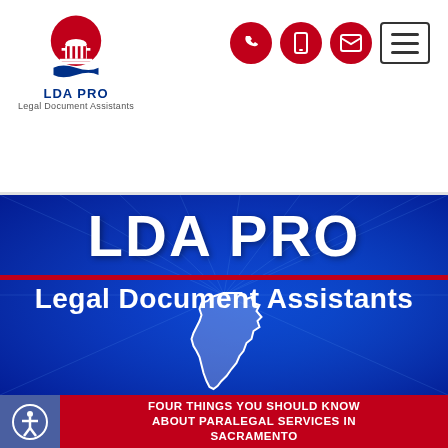[Figure (logo): LDA PRO Legal Document Assistants logo with red dome/courthouse icon and blue wave, text 'LDA PRO' and 'Legal Document Assistants']
[Figure (infographic): Navigation icons: phone, mobile, email (red circles) and hamburger menu button]
[Figure (infographic): LDA PRO hero banner with dark blue gradient background, radial rays, text 'LDA PRO' in white bold, red divider bar, 'Legal Document Assistants' subtitle, California state silhouette in white outline]
FOUR THINGS YOU SHOULD KNOW ABOUT PARALEGAL SERVICES IN SACRAMENTO